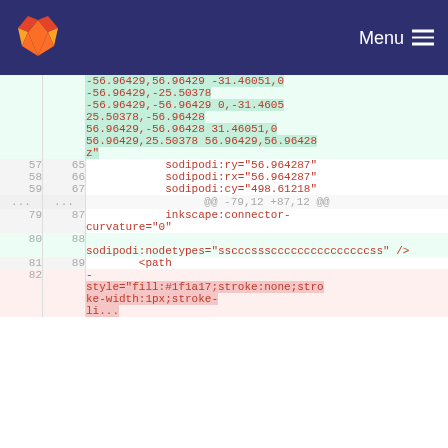GitLab logo | Menu
| old | new | code |
| --- | --- | --- |
|  |  | -56.96429,56.96429 -31.46051,0 |
|  |  | -56.96429,-25.50378 |
|  |  | -56.96429,-56.96429 0,-31.4605 |
|  |  | 25.50378,-56.96428 |
|  |  | 56.96429,-56.96428 31.46051,0 |
|  |  | 56.96429,25.50378 56.96429,56.96428 |
|  |  | z" |
| 57 | 65 | sodipodi:ry="56.964287" |
| 58 | 66 | sodipodi:rx="56.964287" |
| 59 | 67 | sodipodi:cy="498.61218" |
| ... | ... | @@ -79,12 +87,12 @@ |
| 79 | 87 | inkscape:connector-curvature="0" |
| 80 | 88 | sodipodi:nodetypes="sscccssscccccccccccccccss" /> |
| 81 | 89 | <path |
| 82 |  | - style="fill:#1f1a17;stroke:none;stroke-width:1px;stroke-li... |